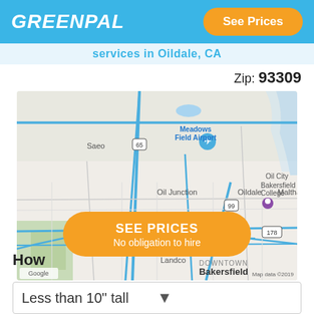GREENPAL | See Prices
Services in Oildale, CA
Zip: 93309
[Figure (map): Google Map showing the Bakersfield, CA area including landmarks: Meadows Field Airport, Oil Junction, Oildale, Maltha, Oil City, Bakersfield College, Landco, Downtown Bakersfield. Map data ©2019.]
[Figure (other): Orange CTA button: SEE PRICES / No obligation to hire]
How
Less than 10" tall